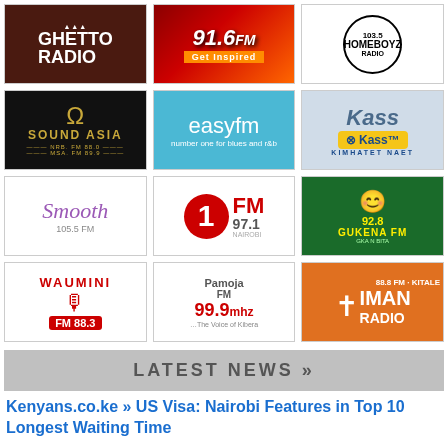[Figure (logo): Ghetto Radio logo - brown background with white text]
[Figure (logo): 91.6 FM Get Inspired logo - red/orange gradient]
[Figure (logo): 103.5 Homeboyz Radio logo - black circle on white]
[Figure (logo): Sound Asia FM logo - gold on black]
[Figure (logo): Easy FM - number one for blues and r&b - blue background]
[Figure (logo): Kass FM logo - blue/yellow on light blue]
[Figure (logo): Smooth 105.5 FM logo - purple text on white]
[Figure (logo): 1 FM 97.1 Nairobi logo - red circle with 1]
[Figure (logo): 92.8 Gukena FM logo - yellow on green]
[Figure (logo): Waumini FM 88.3 logo - red on white]
[Figure (logo): Pamoja FM 99.9mhz The Voice of Kibera logo]
[Figure (logo): Imani Radio 88.8 FM Kitale logo - white on orange]
LATEST NEWS »
Kenyans.co.ke » US Visa: Nairobi Features in Top 10 Longest Waiting Time